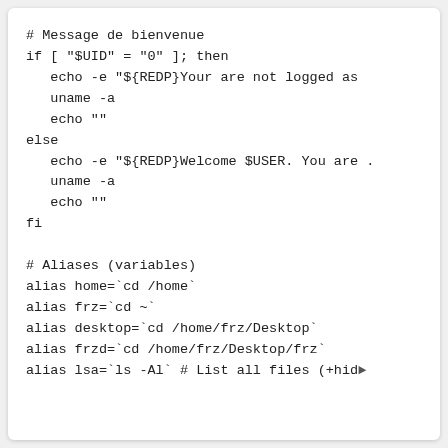# Message de bienvenue
if [ "$UID" = "0" ]; then
   echo -e "${REDP}Your are not logged as
   uname -a
   echo ""
else
   echo -e "${REDP}Welcome $USER. You are .
   uname -a
   echo ""
fi

# Aliases (variables)
alias home=`cd /home`
alias frz=`cd ~`
alias desktop=`cd /home/frz/Desktop`
alias frzd=`cd /home/frz/Desktop/frz`
alias lsa=`ls -Al` # List all files (+hide